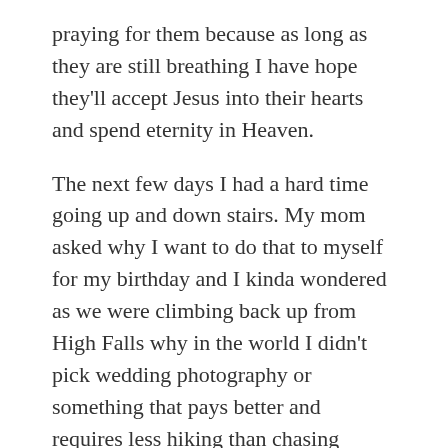praying for them because as long as they are still breathing I have hope they'll accept Jesus into their hearts and spend eternity in Heaven.
The next few days I had a hard time going up and down stairs. My mom asked why I want to do that to myself for my birthday and I kinda wondered as we were climbing back up from High Falls why in the world I didn't pick wedding photography or something that pays better and requires less hiking than chasing waterfalls 🙂
I'm still moving stuff to the new computer. Some programs are so much easier than others and when I get all my stuff to the new computer I plan to get